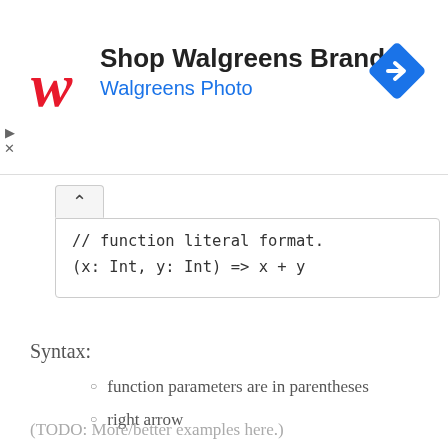[Figure (advertisement): Walgreens Brand ad banner with Walgreens cursive logo, text 'Shop Walgreens Brand' and 'Walgreens Photo', and a blue diamond navigation icon on the right]
[Figure (screenshot): Code block showing Scala/function literal syntax: '// function literal format.' and '(x: Int, y: Int) => x + y' with a collapse toggle button]
Syntax:
function parameters are in parentheses
right arrow
function body to the right of the right arrow
(TODO: More/better examples here.)